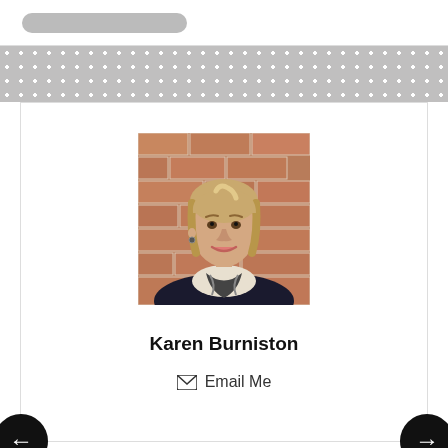[Figure (photo): Top navigation bar with a grey pill/button element on white background]
[Figure (photo): Decorative grey dotted/polka-dot background strip]
[Figure (photo): Portrait photo of Karen Burniston, a blonde woman smiling, wearing a dark top and patterned scarf, posed against a brick wall background]
Karen Burniston
✉ Email Me